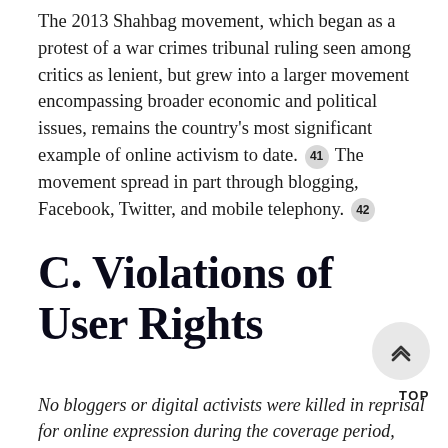The 2013 Shahbag movement, which began as a protest of a war crimes tribunal ruling seen among critics as lenient, but grew into a larger movement encompassing broader economic and political issues, remains the country's most significant example of online activism to date. [41] The movement spread in part through blogging, Facebook, Twitter, and mobile telephony. [42]
C. Violations of User Rights
No bloggers or digital activists were killed in reprisal for online expression during the coverage period, marking a slight improvement in a very dangerous environment for digital speech, though some arrests for online speech and inciting violence were reported under the ICT Act.